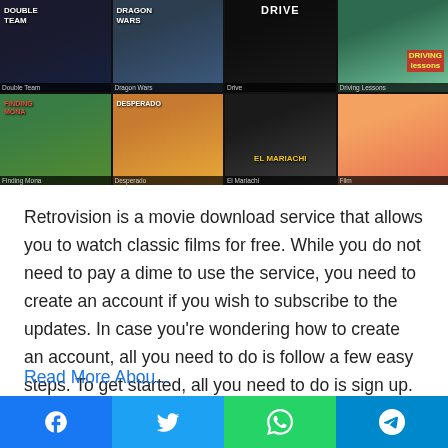[Figure (screenshot): Movie grid showing 8 film posters: Double Team, Dragon Wars, Drive, Driving Lessons (top row); Finding Mona, Desperado-style film, El Mariachi, and a blonde actress film (bottom row)]
Retrovision is a movie download service that allows you to watch classic films for free. While you do not need to pay a dime to use the service, you need to create an account if you wish to subscribe to the updates. In case you're wondering how to create an account, all you need to do is follow a few easy steps. To get started, all you need to do is sign up. In addition to this, you can subscribe to updates, post comments, and view other users' profiles.
Read More About...
[Figure (infographic): Social share bar with Facebook, Twitter, WhatsApp, and Telegram buttons]